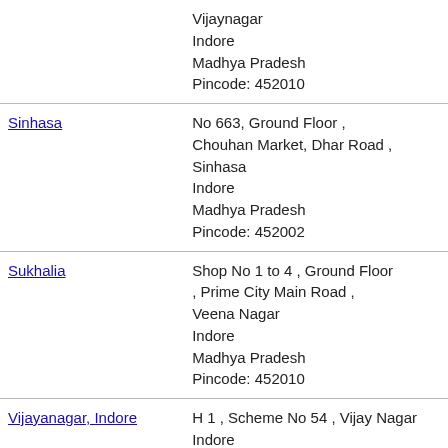| Location | Address |
| --- | --- |
|  | Vijaynagar
Indore
Madhya Pradesh
Pincode: 452010 |
| Sinhasa | No 663, Ground Floor ,
Chouhan Market, Dhar Road ,
Sinhasa
Indore
Madhya Pradesh
Pincode: 452002 |
| Sukhalia | Shop No 1 to 4 , Ground Floor
, Prime City Main Road ,
Veena Nagar
Indore
Madhya Pradesh
Pincode: 452010 |
| Vijayanagar, Indore | H 1 , Scheme No 54 , Vijay Nagar
Indore
Madhya Pradesh
Pincode: 452010 |